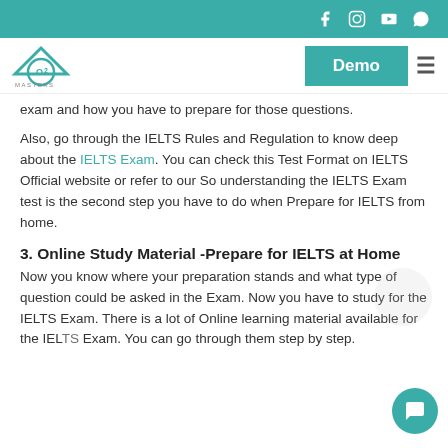O2 Masters website header with social icons (Facebook, Instagram, YouTube, WhatsApp), Demo button, and hamburger menu
exam and how you have to prepare for those questions.
Also, go through the IELTS Rules and Regulation to know deep about the IELTS Exam. You can check this Test Format on IELTS Official website or refer to our So understanding the IELTS Exam test is the second step you have to do when Prepare for IELTS from home.
3. Online Study Material -Prepare for IELTS at Home
Now you know where your preparation stands and what type of question could be asked in the Exam. Now you have to study for the IELTS Exam. There is a lot of Online learning material available for the IELTS Exam. You can go through them step by step.